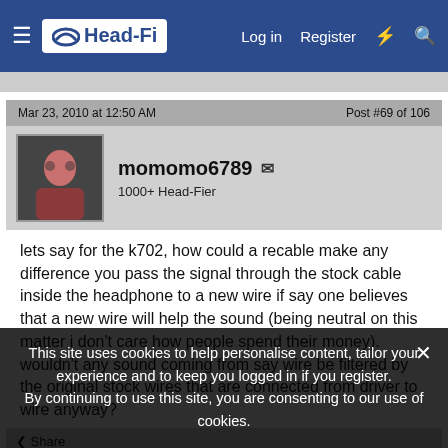Head-Fi | Log in | Register
Mar 23, 2010 at 12:50 AM    Post #69 of 106
momomo6789  1000+ Head-Fier
lets say for the k702, how could a recable make any difference you pass the signal through the stock cable inside the headphone to a new wire if say one believes that a new wire will help the sound (being neutral on this matter i don't care how people spend their money). wouldn't any sound coming from say wire be filtered by the original stock wires that are connected from driver to wire anyway?
This site uses cookies to help personalise content, tailor your experience and to keep you logged in if you register. By continuing to use this site, you are consenting to our use of cookies.